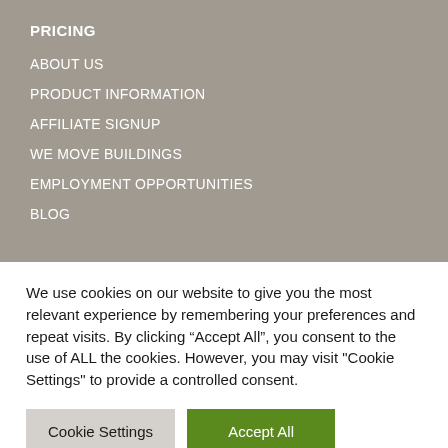PRICING
ABOUT US
PRODUCT INFORMATION
AFFILIATE SIGNUP
WE MOVE BUILDINGS
EMPLOYMENT OPPORTUNITIES
BLOG
We use cookies on our website to give you the most relevant experience by remembering your preferences and repeat visits. By clicking “Accept All”, you consent to the use of ALL the cookies. However, you may visit "Cookie Settings" to provide a controlled consent.
Cookie Settings | Accept All